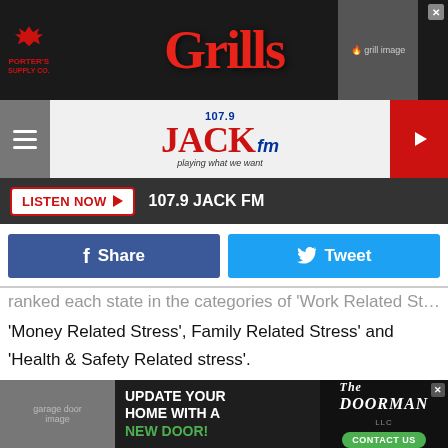[Figure (screenshot): Top advertisement banner for Porter's Supply Co. Grills on dark background]
[Figure (logo): 107.9 JACK fm radio station header with hamburger menu and play button]
[Figure (screenshot): Listen Now button bar with 107.9 JACK FM text on dark background]
[Figure (screenshot): Facebook Share and Twitter Tweet social sharing buttons]
ranked each state in the categories of 'Work Related Stress', 'Money Related Stress', Family Related Stress' and 'Health & Safety Related stress'.
Wyoming Ranked Best in the nation when it came to 'Money Related Stress', seems as though folks in the Cowboy State worry less about Money when compared to every other state. We were middle of the pack when it came to stressed
[Figure (screenshot): Bottom advertisement for The Doorman - Update Your Home With A New Door - Contact Us]